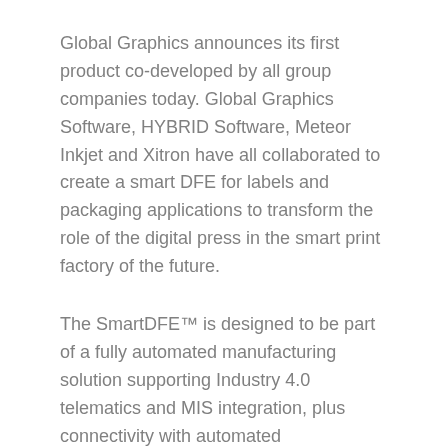Global Graphics announces its first product co-developed by all group companies today. Global Graphics Software, HYBRID Software, Meteor Inkjet and Xitron have all collaborated to create a smart DFE for labels and packaging applications to transform the role of the digital press in the smart print factory of the future.
The SmartDFE™ is designed to be part of a fully automated manufacturing solution supporting Industry 4.0 telematics and MIS integration, plus connectivity with automated manufacturing lines via OPC UA. It brings together in one powerful solution the creation of optimized print-ready PDF files; workflow and job automation to connect with enterprise IT systems; RIPping; screening; optimized image quality; and, via Harlequin Direct™, it drives the print data directly to the printheads at blistering